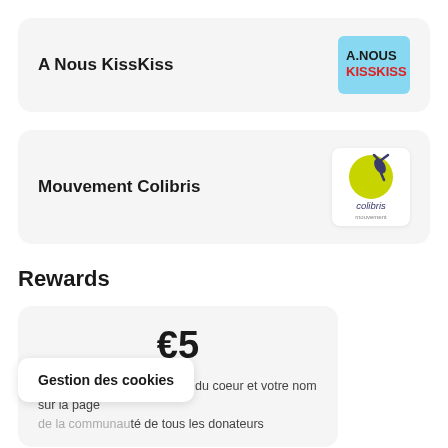A Nous KissKiss
[Figure (logo): A Nous KissKiss logo on light blue background]
Mouvement Colibris
[Figure (logo): Colibris movement logo with green bird and yellow circle]
Rewards
€5
Un GRAND MERCI du fond du coeur et votre nom sur la page de la communauté de tous les donateurs
Gestion des cookies